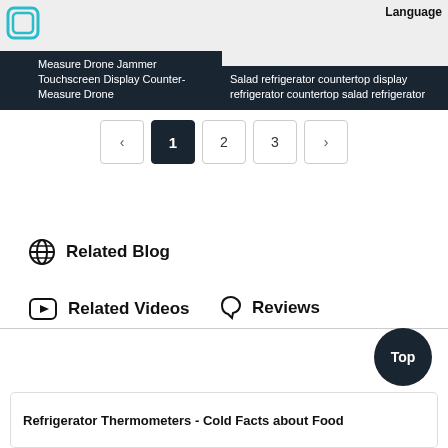[Figure (screenshot): Product card left: Counter-Measure Drone Jammer Touchscreen Display Counter-Measure Drone with teal icon]
[Figure (screenshot): Product card right: Salad refrigerator countertop display refrigerator countertop salad refrigerator with Language label]
[Figure (other): Pagination control: previous, 1 (active), 2, 3, next]
Related Blog
Related Videos
Reviews
Top
Refrigerator Thermometers - Cold Facts about Food